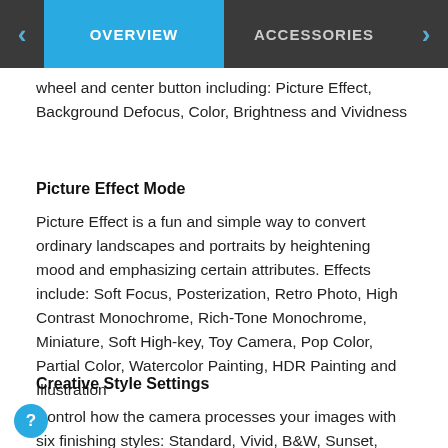OVERVIEW | ACCESSORIES
wheel and center button including: Picture Effect, Background Defocus, Color, Brightness and Vividness
Picture Effect Mode
Picture Effect is a fun and simple way to convert ordinary landscapes and portraits by heightening mood and emphasizing certain attributes. Effects include: Soft Focus, Posterization, Retro Photo, High Contrast Monochrome, Rich-Tone Monochrome, Miniature, Soft High-key, Toy Camera, Pop Color, Partial Color, Watercolor Painting, HDR Painting and Illustration
Creative Style Settings
Control how the camera processes your images with six finishing styles: Standard, Vivid, B&W, Sunset, Portrait and Landscape. You can even fine-tune custom settings to the mode by as many as several steps.